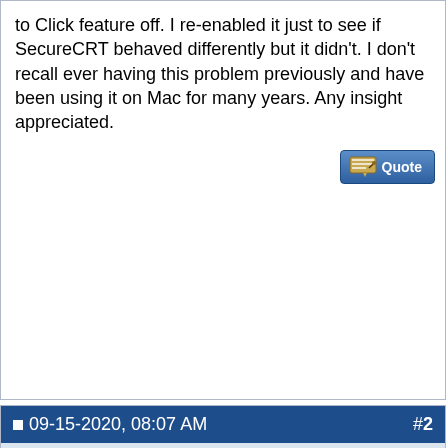to Click feature off. I re-enabled it just to see if SecureCRT behaved differently but it didn't. I don't recall ever having this problem previously and have been using it on Mac for many years. Any insight appreciated.
09-15-2020, 08:07 AM   #2
bgagnon
VanDyke Technical Support
Join Date: Oct 2008
Posts: 4,636
Hi mcox,

Our developers are investigating this issue. Should progress be made toward a resolution, or further information be requested, I will post in this thread.

If you prefer direct e-mail notification, contact